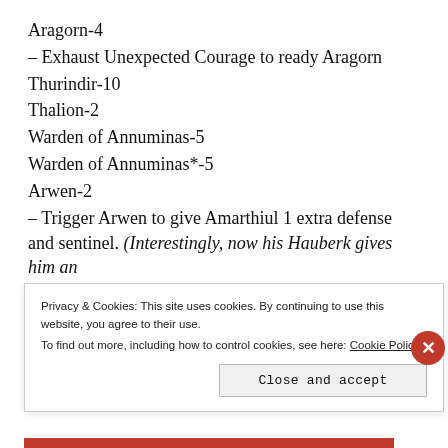Aragorn-4
– Exhaust Unexpected Courage to ready Aragorn
Thurindir-10
Thalion-2
Warden of Annuminas-5
Warden of Annuminas*-5
Arwen-2
– Trigger Arwen to give Amarthiul 1 extra defense and sentinel. (Interestingly, now his Hauberk gives him an
Privacy & Cookies: This site uses cookies. By continuing to use this website, you agree to their use. To find out more, including how to control cookies, see here: Cookie Policy
Close and accept